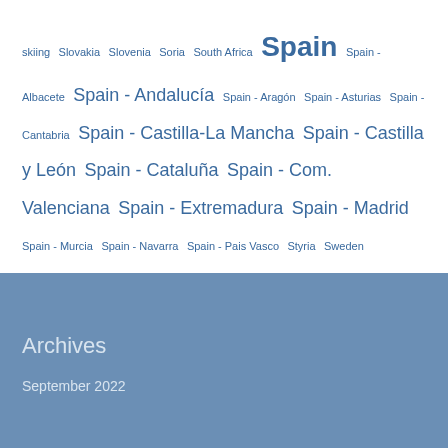skiing Slovakia Slovenia Soria South Africa Spain Spain - Albacete Spain - Andalucía Spain - Aragón Spain - Asturias Spain - Cantabria Spain - Castilla-La Mancha Spain - Castilla y León Spain - Cataluña Spain - Com. Valenciana Spain - Extremadura Spain - Madrid Spain - Murcia Spain - Navarra Spain - Pais Vasco Styria Sweden Turkey Tyrol Ukraine Upper Austria Valencia Via Verde Vienna Waldviertel Western Cape Xàbia
Archives
September 2022